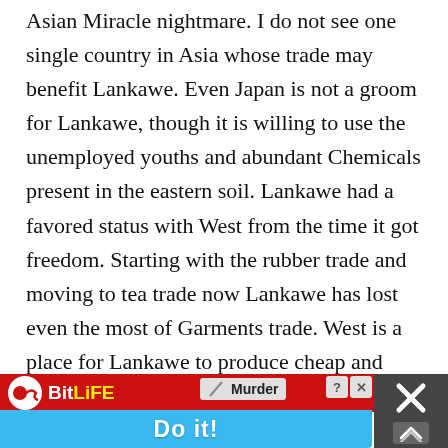Asian Miracle nightmare. I do not see one single country in Asia whose trade may benefit Lankawe. Even Japan is not a groom for Lankawe, though it is willing to use the unemployed youths and abundant Chemicals present in the eastern soil. Lankawe had a favored status with West from the time it got freedom. Starting with the rubber trade and moving to tea trade now Lankawe has lost even the most of Garments trade. West is a place for Lankawe to produce cheap and dump it there. There is a synergy exist to exploit it. Anything so far Lankawe did with China is loaned import of prison labour. None of the Asian countries has market for Lankawe's goods other than culturally connected India
[Figure (infographic): Advertisement banner at the bottom of the page. BitLife app ad showing 'Murder - Do it!' with red top bar and blue bottom bar. Close button (X) and help (?) button visible. Dark overlay with up-arrows button on the right.]